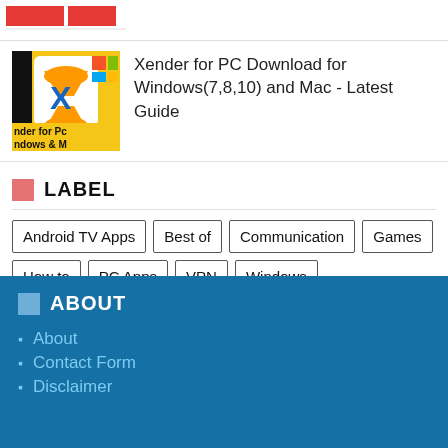[Figure (logo): Red and white logo banner at top]
Xender for PC Download for Windows(7,8,10) and Mac - Latest Guide
LABEL
Android TV Apps
Best of
Communication
Games
How to
PC Apps
VPN
Windows
ABOUT
About
Contact Form
Disclaimer